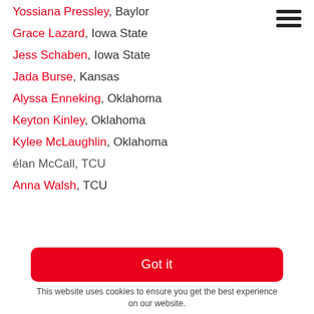Yossiana Pressley, Baylor
Grace Lazard, Iowa State
Jess Schaben, Iowa State
Jada Burse, Kansas
Alyssa Enneking, Oklahoma
Keyton Kinley, Oklahoma
Kylee McLaughlin, Oklahoma
élan McCall, TCU
Anna Walsh, TCU
Got it
This website uses cookies to ensure you get the best experience on our website.